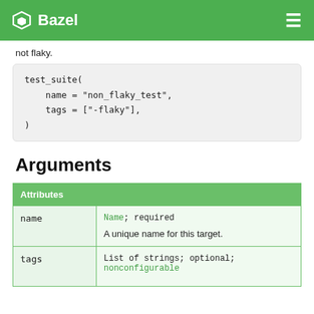Bazel
not flaky.
Arguments
| Attributes |
| --- |
| name | Name; required

A unique name for this target. |
| tags | List of strings; optional;
nonconfigurable |